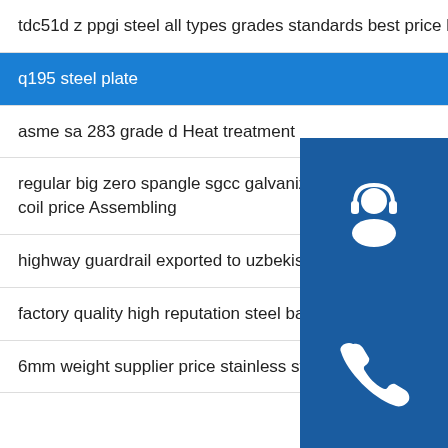tdc51d z ppgi steel all types grades standards best price Bending
q195 steel plate
asme sa 283 grade d Heat treatment
regular big zero spangle sgcc galvanized steel coil price Assembling
highway guardrail exported to uzbekistan price boring
factory quality high reputation steel banding Machining
6mm weight supplier price stainless steel plate
[Figure (illustration): Three blue square icon buttons stacked vertically on the right: a customer service/headset icon, a phone icon, and a Skype icon]